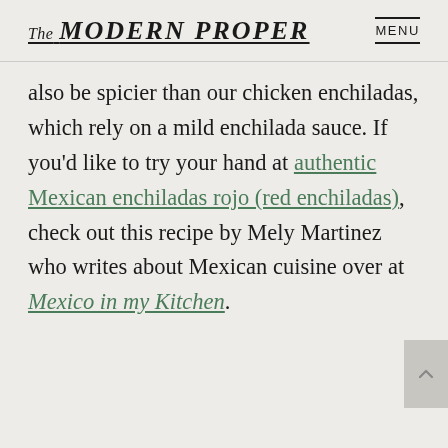The MODERN PROPER   MENU
also be spicier than our chicken enchiladas, which rely on a mild enchilada sauce. If you'd like to try your hand at authentic Mexican enchiladas rojo (red enchiladas), check out this recipe by Mely Martinez who writes about Mexican cuisine over at Mexico in my Kitchen.